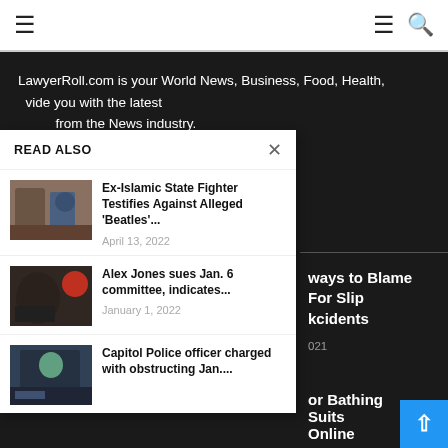≡  ≡ 🔍
LawyerRoll.com is your World News, Business, Food, Health, vide you with the latest from the News industry.
READ ALSO
Ex-Islamic State Fighter Testifies Against Alleged 'Beatles'... April 13, 2022
Alex Jones sues Jan. 6 committee, indicates... January 1, 2022
Capitol Police officer charged with obstructing Jan....
ways to Blame For Slip kcidents
021
or Bathing Suits Online